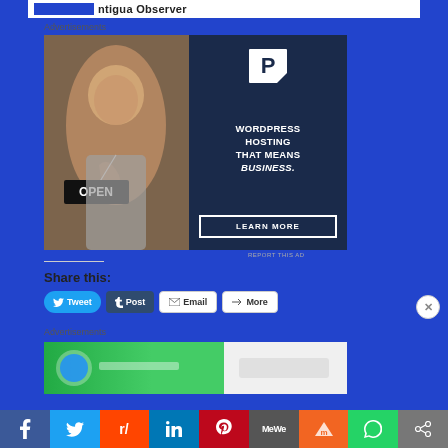Antigua Observer
Advertisements
[Figure (photo): WordPress hosting advertisement showing a woman holding an OPEN sign with text: WORDPRESS HOSTING THAT MEANS BUSINESS. LEARN MORE]
REPORT THIS AD
Share this:
Tweet  Post  Email  More
Advertisements
[Figure (photo): Second advertisement banner, partially visible, green background]
[Figure (infographic): Social media share bar at bottom: Facebook, Twitter, Reddit, LinkedIn, Pinterest, MeWe, Mix, WhatsApp, Share]